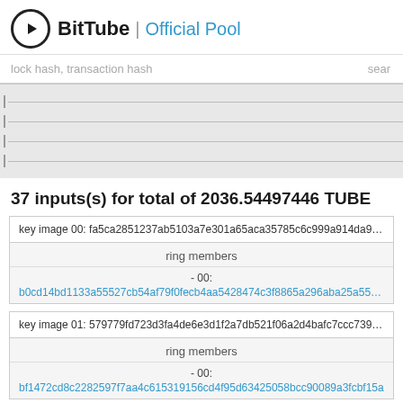BitTube | Official Pool
lock hash, transaction hash    sear
[Figure (other): Horizontal bar chart area with grey background showing multiple rows with tick marks and lines]
37 inputs(s) for total of 2036.54497446 TUBE
key image 00: fa5ca2851237ab5103a7e301a65aca35785c6c999a914da94631...
ring members
- 00:
b0cd14bd1133a55527cb54af79f0fecb4aa5428474c3f8865a296aba25a5560d...
key image 01: 579779fd723d3fa4de6e3d1f2a7db521f06a2d4bafc7ccc7397bac...
ring members
- 00:
bf1472cd8c2282597f7aa4c615319156cd4f95d63425058bcc90089a3fcbf15a...